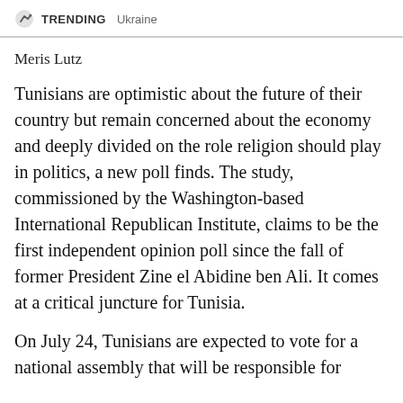TRENDING   Ukraine
Meris Lutz
Tunisians are optimistic about the future of their country but remain concerned about the economy and deeply divided on the role religion should play in politics, a new poll finds. The study, commissioned by the Washington-based International Republican Institute, claims to be the first independent opinion poll since the fall of former President Zine el Abidine ben Ali. It comes at a critical juncture for Tunisia.
On July 24, Tunisians are expected to vote for a national assembly that will be responsible for